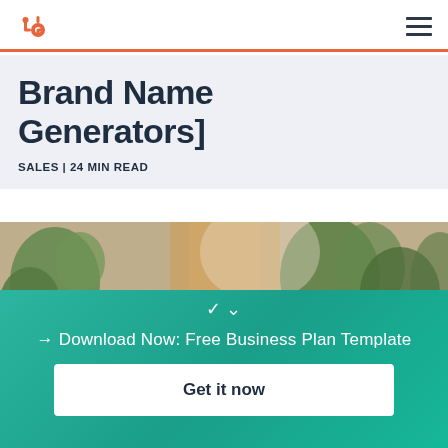HubSpot logo | hamburger menu
Brand Name Generators]
SALES | 24 MIN READ
[Figure (photo): Indoor plants and warm bokeh background photo]
→ Download Now: Free Business Plan Template
Get it now